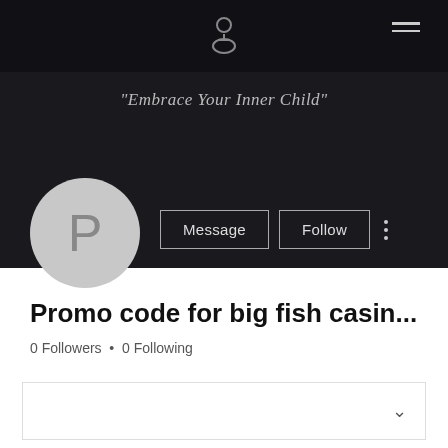[Figure (screenshot): Dark header/banner area of a social media profile page with a small icon and hamburger menu at top]
"Embrace Your Inner Child"
[Figure (illustration): Circular profile avatar with letter P on light gray background]
Message
Follow
Promo code for big fish casin...
0 Followers • 0 Following
[Figure (screenshot): Empty dropdown/selector box with chevron arrow at bottom of profile page]